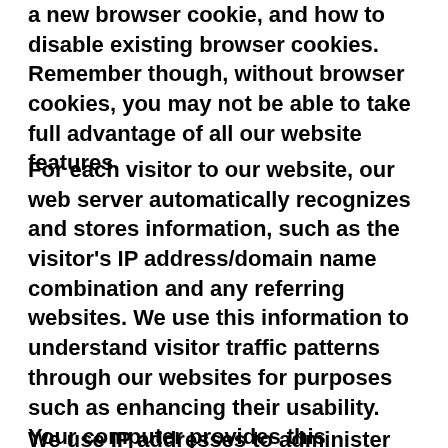a new browser cookie, and how to disable existing browser cookies. Remember though, without browser cookies, you may not be able to take full advantage of all our website features.
For each visitor to our website, our web server automatically recognizes and stores information, such as the visitor's IP address/domain name combination and any referring websites. We use this information to understand visitor traffic patterns through our websites for purposes such as enhancing their usability. Your computer provides this information automatically each time you log on, unless you have activated blocking technology available in some browsers.
We use IP addresses to administer our